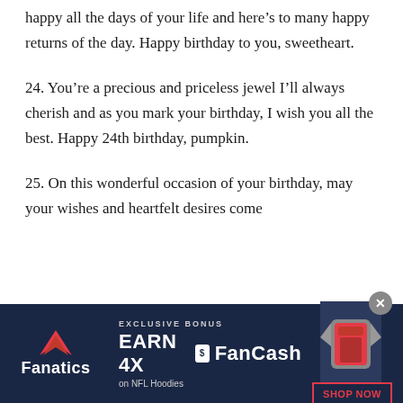happy all the days of your life and here's to many happy returns of the day. Happy birthday to you, sweetheart.
24. You're a precious and priceless jewel I'll always cherish and as you mark your birthday, I wish you all the best. Happy 24th birthday, pumpkin.
25. On this wonderful occasion of your birthday, may your wishes and heartfelt desires come
[Figure (other): Fanatics advertisement banner: EXCLUSIVE BONUS EARN 4X FanCash on NFL Hoodies with SHOP NOW button and image of a hoodie. Close button (x) in top right.]